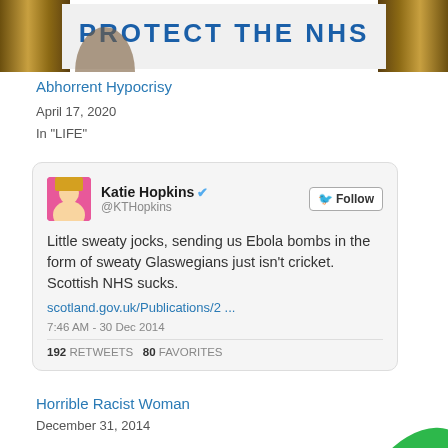[Figure (screenshot): Top portion of a photo showing a 'PROTECT THE NHS' sign with pillars visible on either side]
Abhorrent Hypocrisy
April 17, 2020
In "LIFE"
[Figure (screenshot): Screenshot of a tweet by Katie Hopkins (@KTHopkins) saying: 'Little sweaty jocks, sending us Ebola bombs in the form of sweaty Glaswegians just isn't cricket. Scottish NHS sucks. scotland.gov.uk/Publications/2 ...' posted at 7:46 AM - 30 Dec 2014, with 192 retweets and 80 favorites]
Horrible Racist Woman
December 31, 2014
In "HUMAN RIGHTS"
[Figure (other): Partial green elongated oval/pill shape visible at bottom right of page]